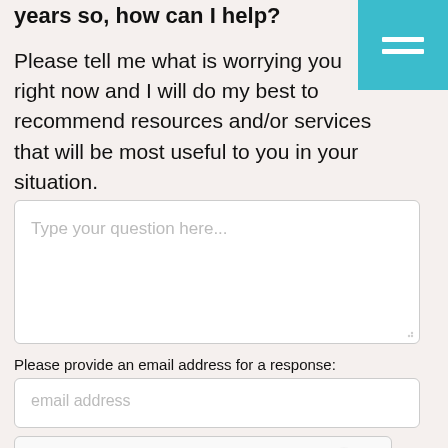years so, how can I help?
Please tell me what is worrying you right now and I will do my best to recommend resources and/or services that will be most useful to you in your situation.
[Figure (screenshot): Teal hamburger menu button in top-right corner]
Type your question here...
Please provide an email address for a response:
email address
[Figure (other): reCAPTCHA widget with checkbox 'I'm not a robot', reCAPTCHA logo, Privacy and Terms links]